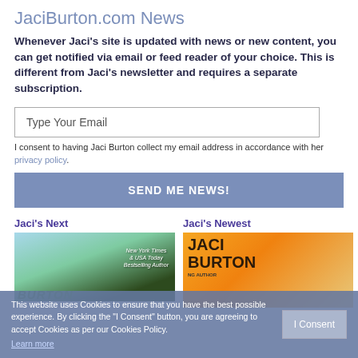JaciBurton.com News
Whenever Jaci's site is updated with news or new content, you can get notified via email or feed reader of your choice. This is different from Jaci's newsletter and requires a separate subscription.
Type Your Email
I consent to having Jaci Burton collect my email address in accordance with her privacy policy.
SEND ME NEWS!
Jaci's Next
Jaci's Newest
[Figure (photo): Book cover for Jaci's Next book - couple on cover, New York Times & USA Today Bestselling Author text, outdoor background with sky and greenery]
[Figure (photo): Book cover for Jaci's Newest book - Jaci Burton name in large letters on orange/warm background, NY Times Bestselling Author text]
This website uses Cookies to ensure that you have the best possible experience. By clicking the "I Consent" button, you are agreeing to accept Cookies as per our Cookies Policy.
Learn more
I Consent